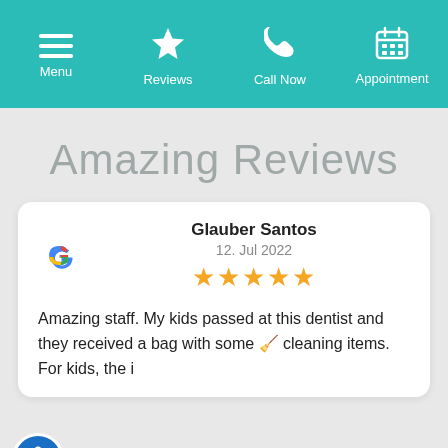Menu | Reviews | Call Now | Appointment
Amazing Reviews
Glauber Santos
12. Jul 2022
★★★★★
Amazing staff. My kids passed at this dentist and they received a bag with some 🧹 cleaning items. For kids, the i...